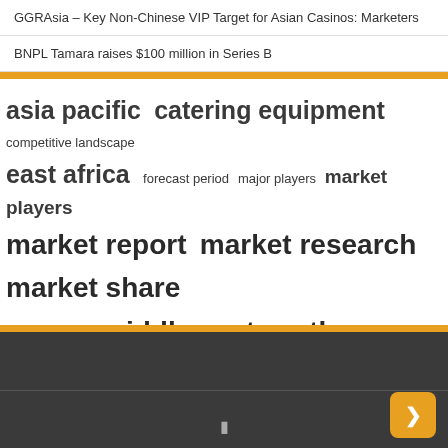GGRAsia – Key Non-Chinese VIP Target for Asian Casinos: Marketers
BNPL Tamara raises $100 million in Series B
[Figure (infographic): Tag cloud with keywords: asia pacific, catering equipment, competitive landscape, east africa, forecast period, major players, market players, market report, market research, market share, market size, middle east, north america, research report, united states — displayed in varying font sizes indicating relative importance]
Dark footer bar with orange button